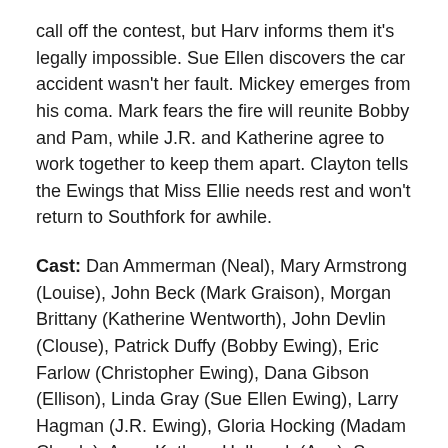call off the contest, but Harv informs them it's legally impossible. Sue Ellen discovers the car accident wasn't her fault. Mickey emerges from his coma. Mark fears the fire will reunite Bobby and Pam, while J.R. and Katherine agree to work together to keep them apart. Clayton tells the Ewings that Miss Ellie needs rest and won't return to Southfork for awhile.
Cast: Dan Ammerman (Neal), Mary Armstrong (Louise), John Beck (Mark Graison), Morgan Brittany (Katherine Wentworth), John Devlin (Clouse), Patrick Duffy (Bobby Ewing), Eric Farlow (Christopher Ewing), Dana Gibson (Ellison), Linda Gray (Sue Ellen Ewing), Larry Hagman (J.R. Ewing), Gloria Hocking (Madam Claude), Anna Kathryn Holbrook (Ann), Susan Howard (Donna Krebbs), Steve Kanaly (Ray Krebbs), Omri Katz (John Ross Ewing), Howard Keel (Clayton Farlow), Ken Kercheval